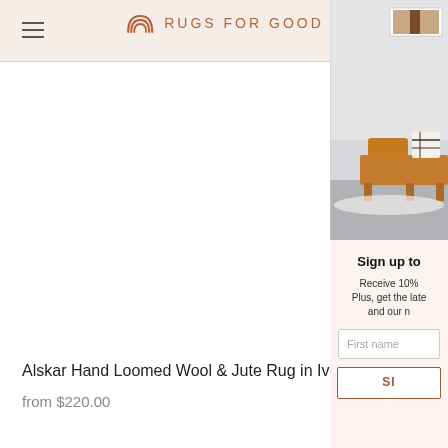[Figure (screenshot): Website header with hamburger menu icon on left, rainbow logo icon and 'RUGS FOR GOOD' text in center, on a light beige background]
Alskar Hand Loomed Wool & Jute Rug in Ivo
from $220.00
[Figure (photo): Interior living room photo showing a wooden bench with orange and black/white pillows, a white rug, and a framed artwork on the wall]
Sign up to
Receive 10%
Plus, get the late
and our n